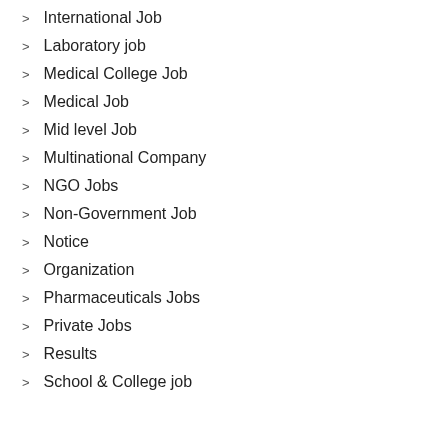International Job
Laboratory job
Medical College Job
Medical Job
Mid level Job
Multinational Company
NGO Jobs
Non-Government Job
Notice
Organization
Pharmaceuticals Jobs
Private Jobs
Results
School & College job